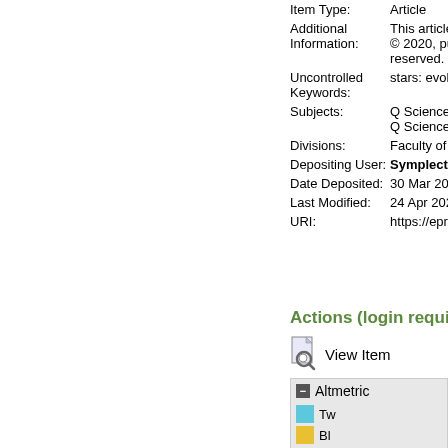| Field | Value |
| --- | --- |
| Item Type: | Article |
| Additional Information: | This article h © 2020, publ reserved. |
| Uncontrolled Keywords: | stars: evolut |
| Subjects: | Q Science > Q Science > |
| Divisions: | Faculty of No |
| Depositing User: | Symplectic |
| Date Deposited: | 30 Mar 2020 |
| Last Modified: | 24 Apr 2020 |
| URI: | https://eprint |
Actions (login required)
View Item
Altmetric
Tw Bl
24 0